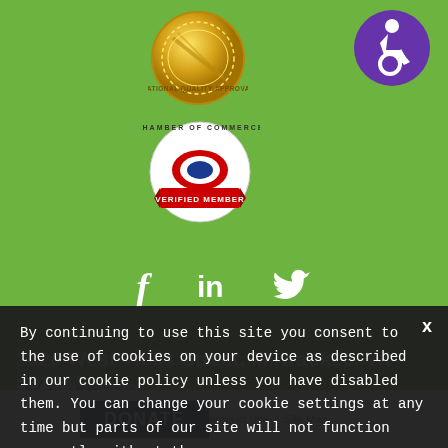[Figure (logo): Gold National Quality Approval medal badge]
[Figure (logo): Purple accessibility icon with wheelchair symbol]
[Figure (logo): Chamber of Commerce verified member badge with red, white, blue logo and red banner]
[Figure (infographic): Social media icons: Facebook (f), LinkedIn (in), Twitter bird icon in white on green background]
2020 West Wells Street, Milwaukee, WI 53233
414.937.2020
Privacy Policy  |  Terms of Use  |  Site Map
By continuing to use this site you consent to the use of cookies on your device as described in our cookie policy unless you have disabled them. You can change your cookie settings at any time but parts of our site will not function correctly without them.
THAT'S FINE
DONATE NOW
DONATE